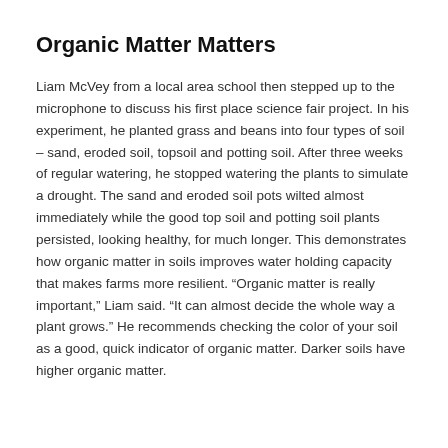Organic Matter Matters
Liam McVey from a local area school then stepped up to the microphone to discuss his first place science fair project. In his experiment, he planted grass and beans into four types of soil – sand, eroded soil, topsoil and potting soil. After three weeks of regular watering, he stopped watering the plants to simulate a drought. The sand and eroded soil pots wilted almost immediately while the good top soil and potting soil plants persisted, looking healthy, for much longer. This demonstrates how organic matter in soils improves water holding capacity that makes farms more resilient. “Organic matter is really important,” Liam said. “It can almost decide the whole way a plant grows.” He recommends checking the color of your soil as a good, quick indicator of organic matter. Darker soils have higher organic matter.